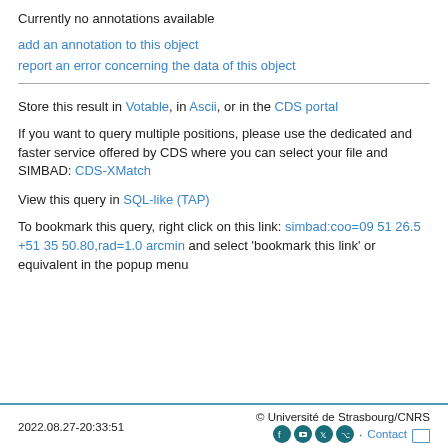Currently no annotations available
add an annotation to this object
report an error concerning the data of this object
Store this result in Votable, in Ascii, or in the CDS portal
If you want to query multiple positions, please use the dedicated and faster service offered by CDS where you can select your file and SIMBAD: CDS-XMatch
View this query in SQL-like (TAP)
To bookmark this query, right click on this link: simbad:coo=09 51 26.5 +51 35 50.80,rad=1.0 arcmin and select 'bookmark this link' or equivalent in the popup menu
2022.08.27-20:33:51   © Université de Strasbourg/CNRS   Contact